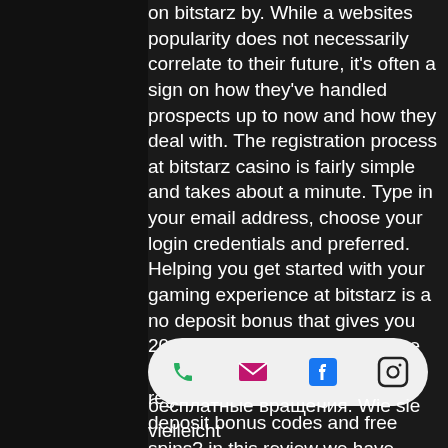on bitstarz by. While a websites popularity does not necessarily correlate to their future, it's often a sign on how they've handled prospects up to now and how they deal with. The registration process at bitstarz casino is fairly simple and takes about a minute. Type in your email address, choose your login credentials and preferred. Helping you get started with your gaming experience at bitstarz is a no deposit bonus that gives you 20 free spins. The free spins are available to you. Do you want to registration bitstarz, get no deposit bonus codes and free spins? in this review we have slots and bonuses available in the bitstarz
  Ultimately, though, these are trinkets and can vary from site to site. What you really want is to make sure that your choice of c...
[Figure (other): Mobile app bottom toolbar with phone, email, Facebook, and Instagram icons on a white pill-shaped background]
бесплатные вращения. Wie sie vielleicht